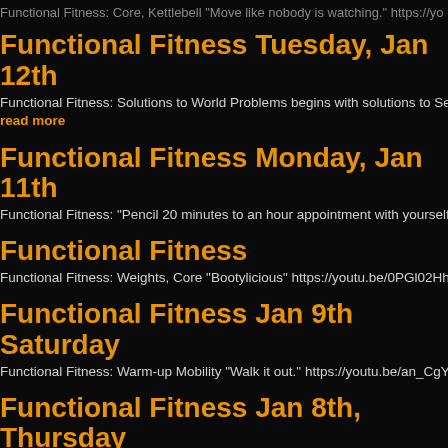Functional Fitness: Core, Kettlebell "Move like nobody is watching." https://yo
Functional Fitness Tuesday, Jan 12th
Functional Fitness: Solutions to World Problems begins with solutions to Self
read more
Functional Fitness Monday, Jan 11th
Functional Fitness: "Pencil 20 minutes to an hour appointment with yourself to
Functional Fitness
Functional Fitness: Weights, Core "Bootylicious" https://youtu.be/0PGl02Hh4e
Functional Fitness Jan 9th Saturday
Functional Fitness: Warm-up Mobility "Walk it out." https://youtu.be/an_CgYCo
Functional Fitness Jan 8th, Thursday
Functional Fitness: Core, Yoga Flow, Light Weight "Coming of Age, coming of
... read more